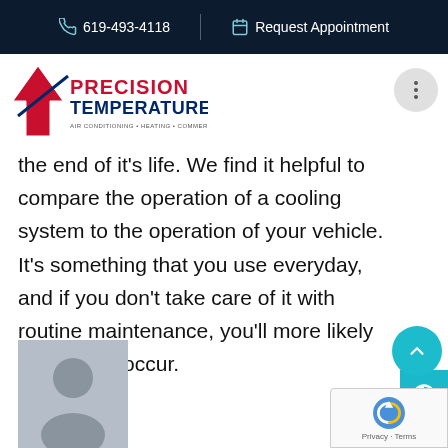619-493-4118   Request Appointment
[Figure (logo): Precision Temperature logo — air conditioning, heating, commercial refrigeration]
the end of it's life. We find it helpful to compare the operation of a cooling system to the operation of your vehicle. It's something that you use everyday, and if you don't take care of it with routine maintenance, you'll more likely see issues occur.
[Figure (photo): Generic user avatar placeholder — grey silhouette]